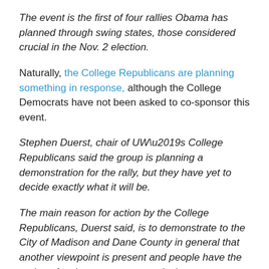The event is the first of four rallies Obama has planned through swing states, those considered crucial in the Nov. 2 election.
Naturally, the College Republicans are planning something in response, although the College Democrats have not been asked to co-sponsor this event.
Stephen Duerst, chair of UW’s College Republicans said the group is planning a demonstration for the rally, but they have yet to decide exactly what it will be.
The main reason for action by the College Republicans, Duerst said, is to demonstrate to the City of Madison and Dane County in general that another viewpoint is present and people have the option of voting more conservatively.